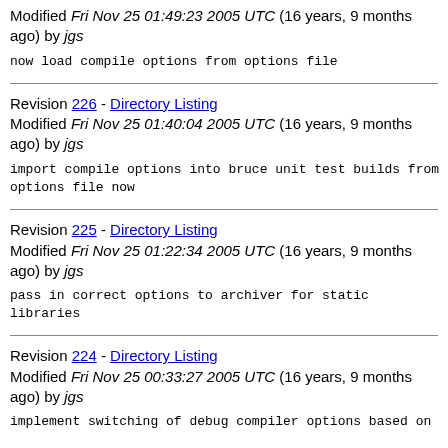Modified Fri Nov 25 01:49:23 2005 UTC (16 years, 9 months ago) by jgs
now load compile options from options file
Revision 226 - Directory Listing
Modified Fri Nov 25 01:40:04 2005 UTC (16 years, 9 months ago) by jgs
import compile options into bruce unit test builds from options file now
Revision 225 - Directory Listing
Modified Fri Nov 25 01:22:34 2005 UTC (16 years, 9 months ago) by jgs
pass in correct options to archiver for static libraries
Revision 224 - Directory Listing
Modified Fri Nov 25 00:33:27 2005 UTC (16 years, 9 months ago) by jgs
implement switching of debug compiler options based on